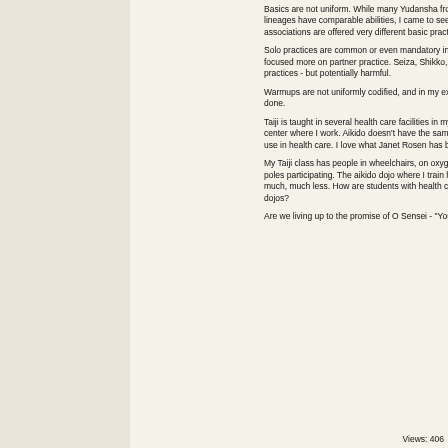Basics are not uniform. While many Yudansha from different associations and lineages have comparable abilities, I came to see beginners in the various associations are offered very different basic practices.
Solo practices are common or even mandatory in some styles; my Aikikai lineage focused more on partner practice. Seiza, Shikko, and Ukemi are important practices - but potentially harmful.
Warmups are not uniformly codified, and in my experience not even uniformly done.
Taiji is taught in several health care facilities in my area, including the cancer center where I work. Aikido doesn't have the same volume of data to support it's use in health care. I love what Janet Rosen has been working on!
My Taiji class has people in wheelchairs, on oxygen tanks, and attached to IV poles participating. The aikido dojo where I train has turned away students for much, much less. How are students with health challenges training in your own dojos?
Are we living up to the promise of O Sensei - "You won't find a healthie ...More
Views: 406